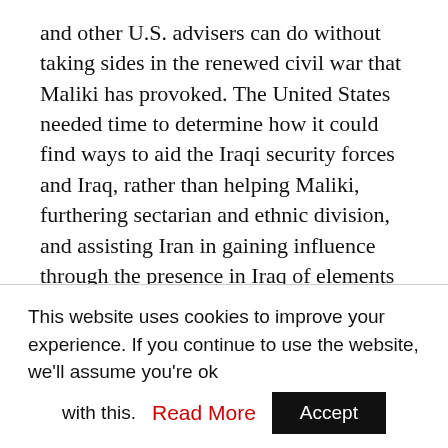and other U.S. advisers can do without taking sides in the renewed civil war that Maliki has provoked. The United States needed time to determine how it could find ways to aid the Iraqi security forces and Iraq, rather than helping Maliki, furthering sectarian and ethnic division, and assisting Iran in gaining influence through the presence in Iraq of elements of its Revolutionary Guards Corps.
It has been more than a month since that options study was completed, however, and the Islamic State has so far gained steadily each week in which the United States has failed to act. It continues to
This website uses cookies to improve your experience. If you continue to use the website, we'll assume you're ok with this. Read More Accept